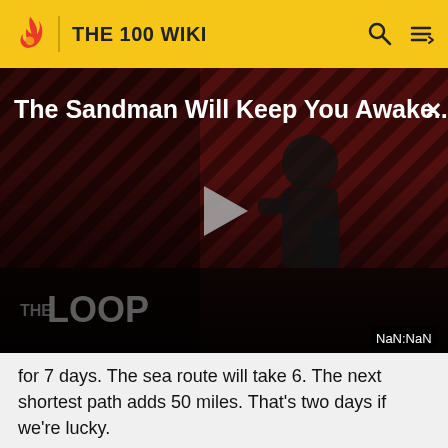THE 100 WIKI
[Figure (screenshot): Video thumbnail for 'The Sandman Will Keep You Awake...' showing a dark figure against a red striped background with THE LOOP logo, a play button in the center, and NaN:NaN timestamp badge.]
for 7 days. The sea route will take 6. The next shortest path adds 50 miles. That's two days if we're lucky.
Indra: How do we know there won't be sandstorms on the longer routes?